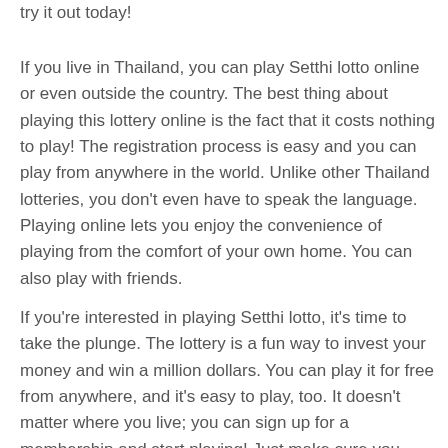try it out today!
If you live in Thailand, you can play Setthi lotto online or even outside the country. The best thing about playing this lottery online is the fact that it costs nothing to play! The registration process is easy and you can play from anywhere in the world. Unlike other Thailand lotteries, you don't even have to speak the language. Playing online lets you enjoy the convenience of playing from the comfort of your own home. You can also play with friends.
If you're interested in playing Setthi lotto, it's time to take the plunge. The lottery is a fun way to invest your money and win a million dollars. You can play it for free from anywhere, and it's easy to play, too. It doesn't matter where you live; you can sign up for a membership and start playing! Just make sure you follow the instructions carefully. You'll soon be winning millions of dollars! And